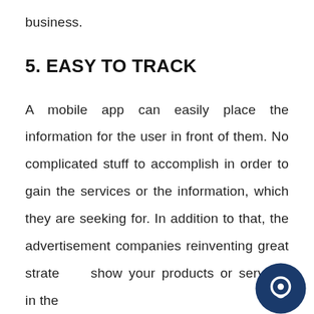business.
5. EASY TO TRACK
A mobile app can easily place the information for the user in front of them. No complicated stuff to accomplish in order to gain the services or the information, which they are seeking for. In addition to that, the advertisement companies reinventing great strategies show your products or services in the best